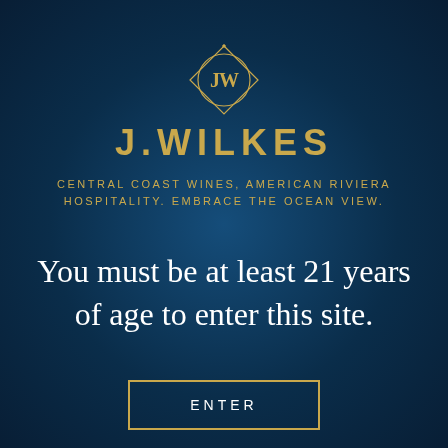[Figure (logo): J.Wilkes circular monogram emblem in gold outline on dark blue background, with interlocking J and W letters inside an ornate circle with diamond border]
J.WILKES
CENTRAL COAST WINES, AMERICAN RIVIERA HOSPITALITY. EMBRACE THE OCEAN VIEW.
You must be at least 21 years of age to enter this site.
ENTER